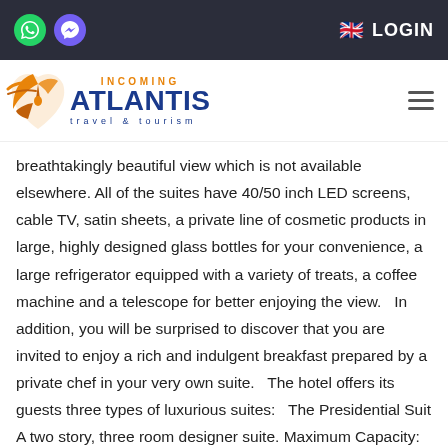Incoming Atlantis Travel & Tourism — LOGIN
breathtakingly beautiful view which is not available elsewhere. All of the suites have 40/50 inch LED screens, cable TV, satin sheets, a private line of cosmetic products in large, highly designed glass bottles for your convenience, a large refrigerator equipped with a variety of treats, a coffee machine and a telescope for better enjoying the view.   In addition, you will be surprised to discover that you are invited to enjoy a rich and indulgent breakfast prepared by a private chef in your very own suite.   The hotel offers its guests three types of luxurious suites:   The Presidential Suit A two story, three room designer suite. Maximum Capacity: six guests.   Features: a panoramic view of Jerusalem, radio, flat screen television, cable, air